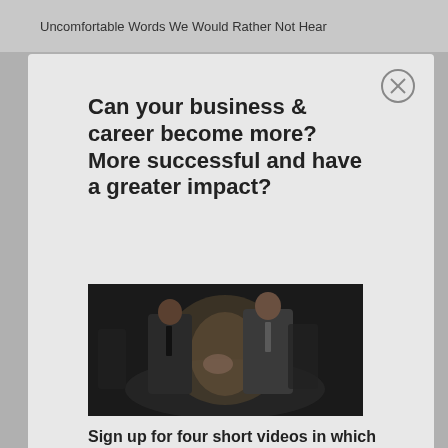Uncomfortable Words We Would Rather Not Hear
Can your business & career become more? More successful and have a greater impact?
[Figure (photo): Two men in suits shaking hands on a dark stage, photographed from a slight angle with dramatic lighting]
Sign up for four short videos in which you'll discover the Biblical model for business. Your views of business will